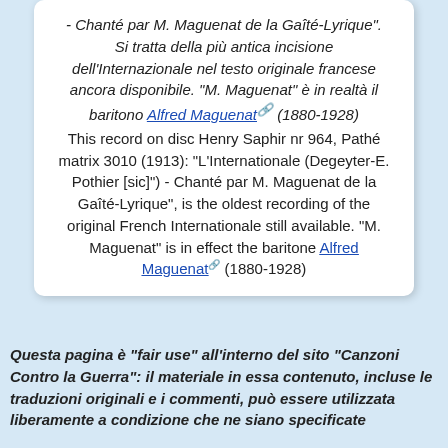- Chanté par M. Maguenat de la Gaîté-Lyrique". Si tratta della più antica incisione dell'Internazionale nel testo originale francese ancora disponibile. "M. Maguenat" è in realtà il baritono Alfred Maguenat (1880-1928) This record on disc Henry Saphir nr 964, Pathé matrix 3010 (1913): "L'Internationale (Degeyter-E. Pothier [sic]") - Chanté par M. Maguenat de la Gaîté-Lyrique", is the oldest recording of the original French Internationale still available. "M. Maguenat" is in effect the baritone Alfred Maguenat (1880-1928)
Questa pagina è "fair use" all'interno del sito "Canzoni Contro la Guerra": il materiale in essa contenuto, incluse le traduzioni originali e i commenti, può essere utilizzata liberamente a condizione che ne siano specificate